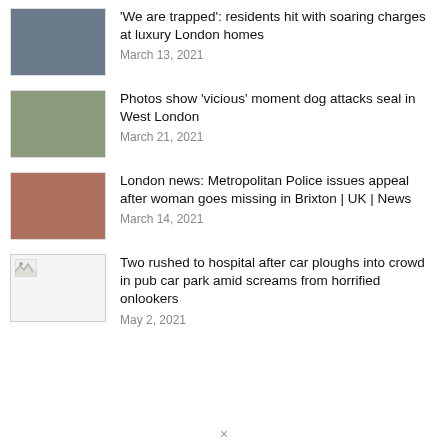[Figure (photo): Man standing outdoors near a building with a lamp post]
'We are trapped': residents hit with soaring charges at luxury London homes
March 13, 2021
[Figure (photo): Seal on a rocky surface near water]
Photos show 'vicious' moment dog attacks seal in West London
March 21, 2021
[Figure (photo): Close-up of a person's face with hand partially covering it]
London news: Metropolitan Police issues appeal after woman goes missing in Brixton | UK | News
March 14, 2021
[Figure (photo): Broken image placeholder icon]
Two rushed to hospital after car ploughs into crowd in pub car park amid screams from horrified onlookers
May 2, 2021